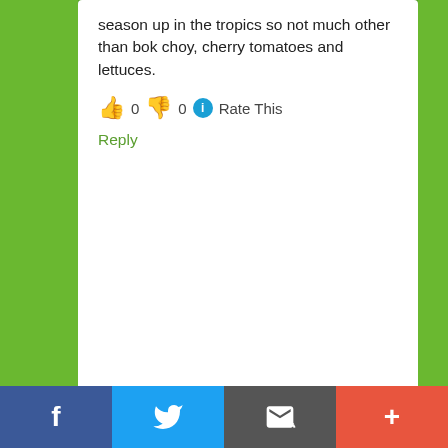season up in the tropics so not much other than bok choy, cherry tomatoes and lettuces.
👍 0 👎 0 ℹ Rate This
Reply
ennoh412 says
July 4, 2014 at 19:58
Gavin – do pumpkins need much sun to grow? We have a side passage which runs north/south. It doesnt get a lot of sun but